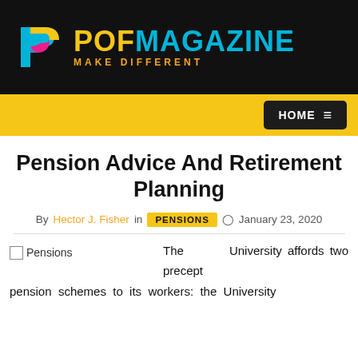[Figure (logo): POF Magazine logo with colorful P icon, yellow POF and cyan MAGAZINE text, orange tagline MAKE DIFFERENT on black background]
HOME ☰
Pension Advice And Retirement Planning
By Hector J. Fisher in PENSIONS  January 23, 2020
[Figure (photo): Pensions image placeholder]
The University affords two precept pension schemes to its workers: the University